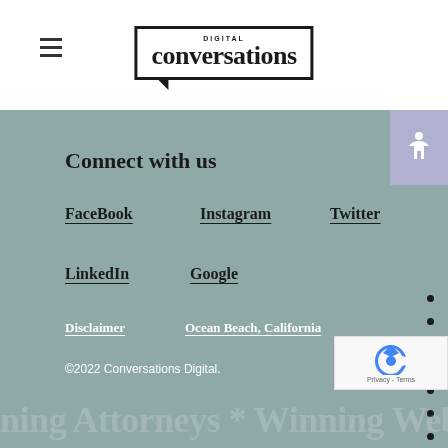[Figure (logo): Conversations Digital logo with speech bubble border and hamburger menu icon]
Connect with us
FaceBook
Instagram
Twitter
LinkedIn
Google
Disclaimer
Ocean Beach, California
©2022 Conversations Digital.
ning Attorneys * Winning Web